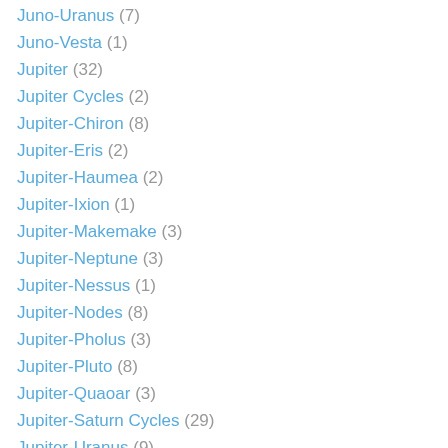Juno-Uranus (7)
Juno-Vesta (1)
Jupiter (32)
Jupiter Cycles (2)
Jupiter-Chiron (8)
Jupiter-Eris (2)
Jupiter-Haumea (2)
Jupiter-Ixion (1)
Jupiter-Makemake (3)
Jupiter-Neptune (3)
Jupiter-Nessus (1)
Jupiter-Nodes (8)
Jupiter-Pholus (3)
Jupiter-Pluto (8)
Jupiter-Quaoar (3)
Jupiter-Saturn Cycles (29)
Jupiter-Uranus (9)
Ka'epaoka'awela (BZ509) (1)
Karma (189)
Karma (asteroid) (44)